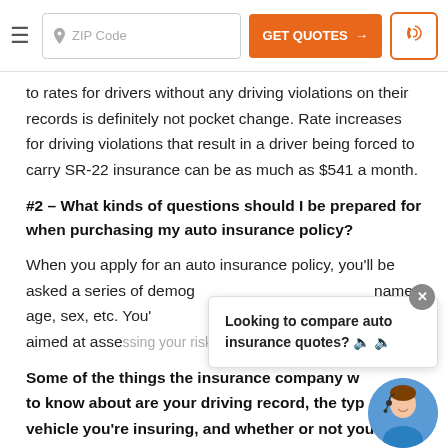ZIP Code | GET QUOTES → | [phone icon]
to rates for drivers without any driving violations on their records is definitely not pocket change. Rate increases for driving violations that result in a driver being forced to carry SR-22 insurance can be as much as $541 a month.
#2 – What kinds of questions should I be prepared for when purchasing my auto insurance policy?
When you apply for an auto insurance policy, you'll be asked a series of demog... name, age, sex, etc. You'l... questions aimed at assessing your risk as a driver.
Looking to compare auto insurance quotes? 🔊 🔊
Some of the things the insurance company w... to know about are your driving record, the typ... vehicle you're insuring, and whether or not you've...